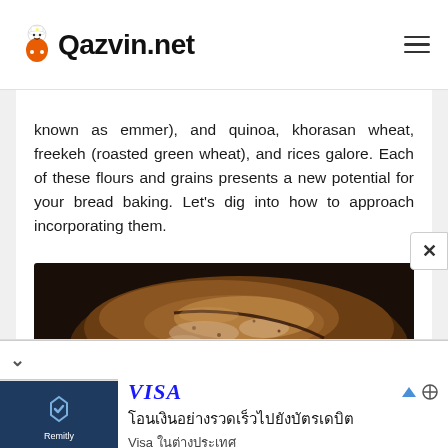Qazvin.net
known as emmer), and quinoa, khorasan wheat, freekeh (roasted green wheat), and rices galore. Each of these flours and grains presents a new potential for your bread baking. Let's dig into how to approach incorporating them.
[Figure (photo): Close-up photo of a rustic baked bread loaf with a dark, floured crust on a wooden surface]
[Figure (screenshot): Advertisement banner for Remitly and Visa showing Thai text about sending money to debit cards]